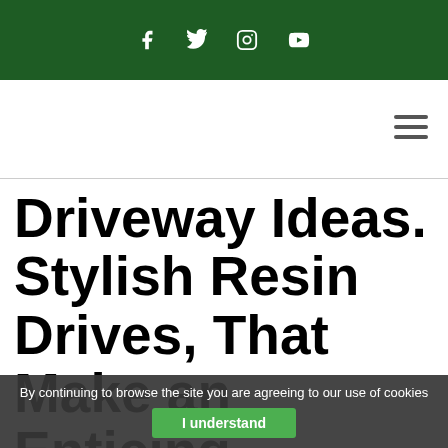Social media icons: Facebook, Twitter, Instagram, YouTube
[Figure (other): Hamburger menu icon (three horizontal lines) on white navigation bar area]
Driveway Ideas. Stylish Resin Drives, That Make an Enticing Entrance in Stockport
By continuing to browse the site you are agreeing to our use of cookies
I understand